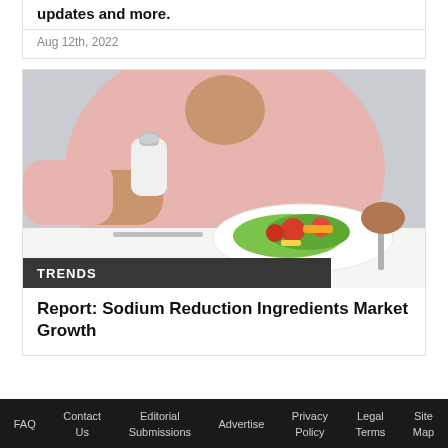updates and more.
Aug 12th, 2022
[Figure (photo): Person in pink sweater holding a salt shaker over a plate of salad with tomatoes and lettuce, sitting at a white table with a fork in other hand]
TRENDS
Report: Sodium Reduction Ingredients Market Growth
FAQ  Contact Us  Editorial Submissions  Advertise  Privacy Policy  Legal Terms  Site Map